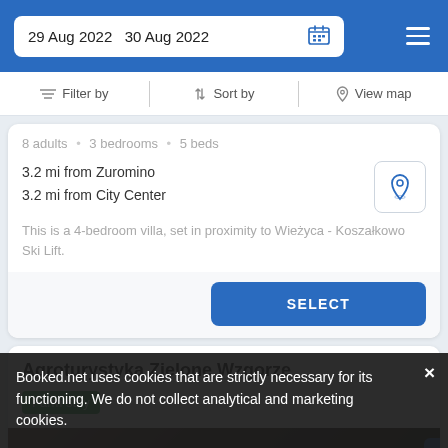29 Aug 2022   30 Aug 2022
Filter by   Sort by   View map
8 adults · 3 bedrooms · 5 beds
3.2 mi from Zuromino
3.2 mi from City Center
This is a 4-bedroom villa, set in proximity to Wieżyca - Koszałkowo Ski Lift.
SELECT
Agroturystyka Zielone Wzgorze
Farm stay
Booked.net uses cookies that are strictly necessary for its functioning. We do not collect analytical and marketing cookies.